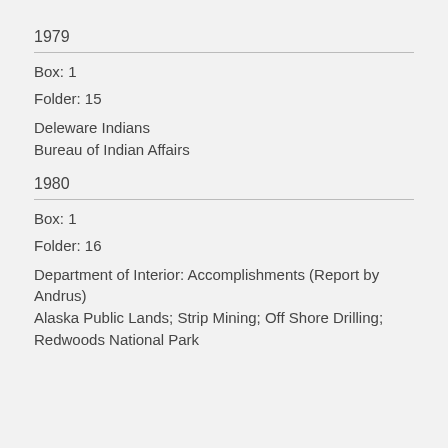1979
Box: 1
Folder: 15
Deleware Indians
Bureau of Indian Affairs
1980
Box: 1
Folder: 16
Department of Interior: Accomplishments (Report by Andrus)
Alaska Public Lands; Strip Mining; Off Shore Drilling; Redwoods National Park